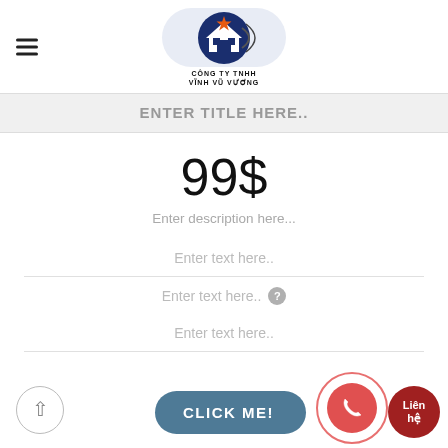[Figure (logo): Logo of CONG TY TNHH VINH VU VUONG — oval light blue background with a dark blue circle containing a house icon and orange star, company name below in bold uppercase text.]
ENTER TITLE HERE..
99$
Enter description here...
Enter text here..
Enter text here..
Enter text here..
CLICK ME!
Liên hệ